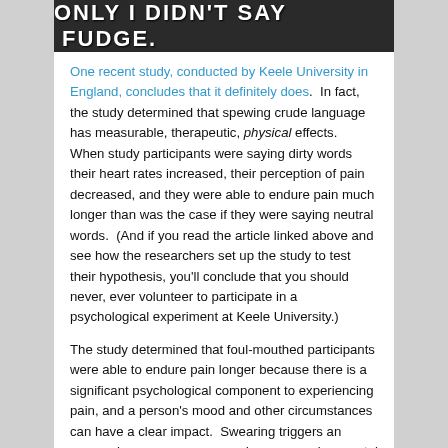[Figure (photo): Dark banner image with bold white text reading 'ONLY I DIDN'T SAY FUDGE.']
One recent study, conducted by Keele University in England, concludes that it definitely does.  In fact, the study determined that spewing crude language has measurable, therapeutic, physical effects.  When study participants were saying dirty words their heart rates increased, their perception of pain decreased, and they were able to endure pain much longer than was the case if they were saying neutral words.  (And if you read the article linked above and see how the researchers set up the study to test their hypothesis, you'll conclude that you should never, ever volunteer to participate in a psychological experiment at Keele University.)
The study determined that foul-mouthed participants were able to endure pain longer because there is a significant psychological component to experiencing pain, and a person's mood and other circumstances can have a clear impact.  Swearing triggers an aggressiveness response, and an aggressive mental attitude helps a person deal